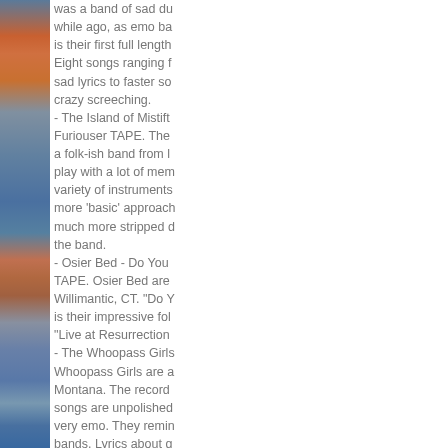[Figure (photo): A narrow vertical strip of a photograph showing an outdoor scene with warm orange/red and cool blue tones, possibly a sunset or landscape with building elements.]
was a band of sad du while ago, as emo ba is their first full length Eight songs ranging f sad lyrics to faster so crazy screeching. - The Island of Mistift Furiouser TAPE. The a folk-ish band from l play with a lot of mem variety of instruments more 'basic' approach much more stripped d the band. - Osier Bed - Do You TAPE. Osier Bed are Willimantic, CT. "Do Y is their impressive fol "Live at Resurrection - The Whoopass Girls Whoopass Girls are a Montana. The record songs are unpolished very emo. They remin bands. Lyrics about g the like. - Your Neighbour The is a scottish emo bar collection of their first a split, and a live B-si